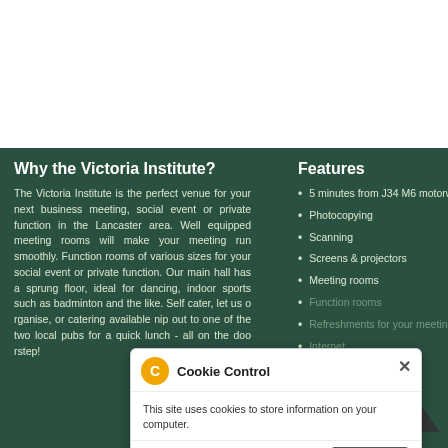|  |  |
| 6pm |  |
|  |  |
Why the Victoria Institute?
The Victoria Institute is the perfect venue for your next business meeting, social event or private function in the Lancaster area. Well equipped meeting rooms will make your meeting run smoothly. Function rooms of various sizes for your social event or private function. Our main hall has a sprung floor, ideal for dancing, indoor sports such as badminton and the like. Self cater, let us organise, or catering available nip out to one of the two local pubs for a quick lunch - all on the doorstep!
Features
5 minutes from J34 M6 motorway
Photocopying
Scanning
Screens & projectors
Meeting rooms
Function rooms
Refreshments for your meeting
Internet
Cookie Control - This site uses cookies to store information on your computer. About this tool | read more